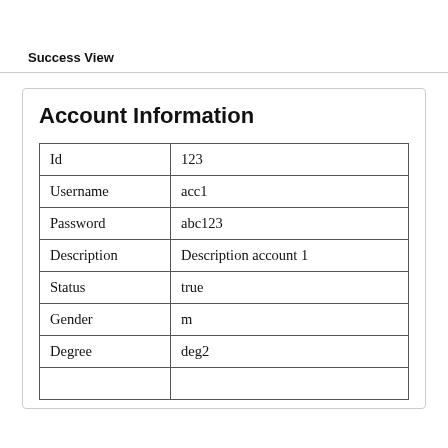Success View
| Id | 123 |
| Username | acc1 |
| Password | abc123 |
| Description | Description account 1 |
| Status | true |
| Gender | m |
| Degree | deg2 |